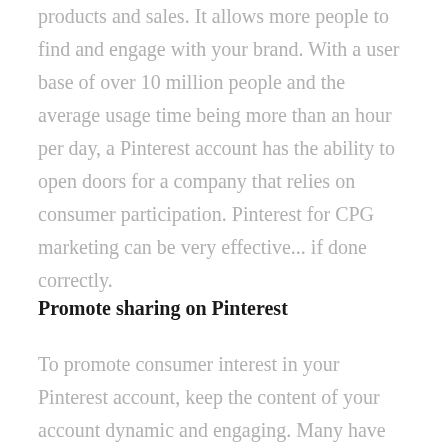products and sales. It allows more people to find and engage with your brand. With a user base of over 10 million people and the average usage time being more than an hour per day, a Pinterest account has the ability to open doors for a company that relies on consumer participation. Pinterest for CPG marketing can be very effective... if done correctly.
Promote sharing on Pinterest
To promote consumer interest in your Pinterest account, keep the content of your account dynamic and engaging. Many have found success sharing around 40% inspirational pictures, another 40% informative content, and the rest